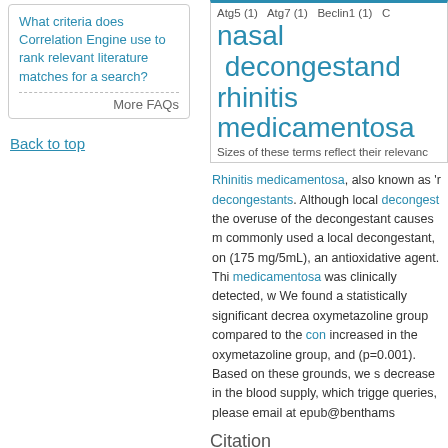What criteria does Correlation Engine use to rank relevant literature matches for a search?
More FAQs
Back to top
[Figure (other): Tag cloud showing medical terms: Atg5 (1), Atg7 (1), Beclin1 (1), nasal decongestants, rhinitis medicamentosa. Sizes of these terms reflect their relevance.]
Rhinitis medicamentosa, also known as 'r decongestants. Although local decongestants the overuse of the decongestant causes m commonly used a local decongestant, on (175 mg/5mL), an antioxidative agent. Thi medicamentosa was clinically detected, w We found a statistically significant decrea oxymetazoline group compared to the con increased in the oxymetazoline group, an (p=0.001). Based on these grounds, we s decrease in the blood supply, which trigge queries, please email at epub@benthams
Citation
Beyhan Cengiz, Mehmet Bostancıklıoğlu, Effects of Oxymetazoline on Lungs in a R
Mesh Tags